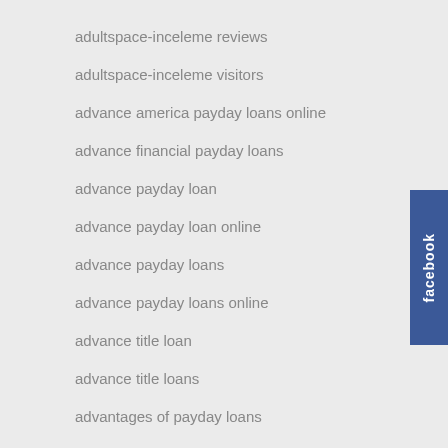adultspace-inceleme reviews
adultspace-inceleme visitors
advance america payday loans online
advance financial payday loans
advance payday loan
advance payday loan online
advance payday loans
advance payday loans online
advance title loan
advance title loans
advantages of payday loans